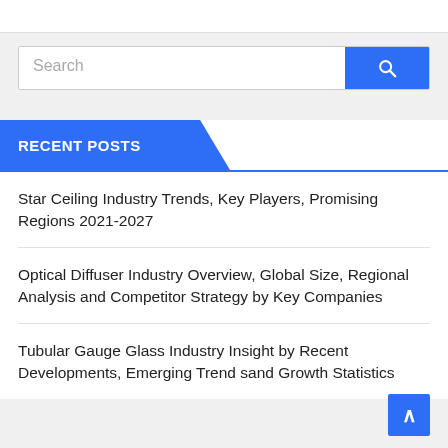[Figure (screenshot): Search bar with text input field and blue search button with magnifying glass icon]
RECENT POSTS
Star Ceiling Industry Trends, Key Players, Promising Regions 2021-2027
Optical Diffuser Industry Overview, Global Size, Regional Analysis and Competitor Strategy by Key Companies
Tubular Gauge Glass Industry Insight by Recent Developments, Emerging Trend sand Growth Statistics